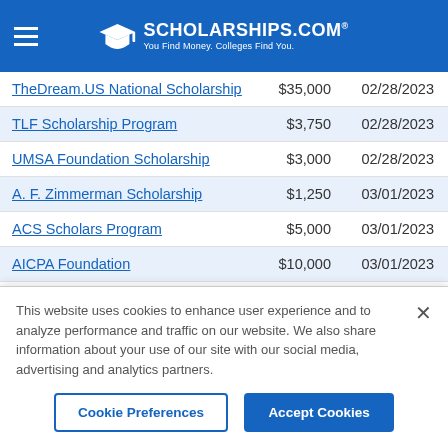[Figure (logo): Scholarships.com logo with graduation cap icon and tagline 'You Find Money. Colleges Find You.' on blue background]
| Scholarship Name | Amount | Deadline |
| --- | --- | --- |
| TheDream.US National Scholarship | $35,000 | 02/28/2023 |
| TLF Scholarship Program | $3,750 | 02/28/2023 |
| UMSA Foundation Scholarship | $3,000 | 02/28/2023 |
| A. F. Zimmerman Scholarship | $1,250 | 03/01/2023 |
| ACS Scholars Program | $5,000 | 03/01/2023 |
| AICPA Foundation | $10,000 | 03/01/2023 |
This website uses cookies to enhance user experience and to analyze performance and traffic on our website. We also share information about your use of our site with our social media, advertising and analytics partners.
Cookie Preferences | Accept Cookies